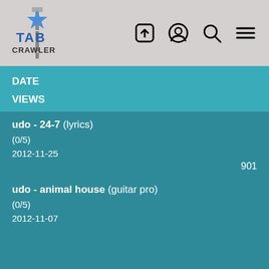[Figure (logo): Tab Crawler logo with star and guitar neck icon in blue and white on grey background]
DATE
VIEWS
udo - 24-7 (lyrics)
(0/5)
2012-11-25
901
udo - animal house (guitar pro)
(0/5)
2012-11-07